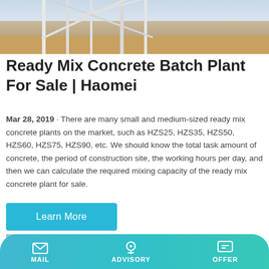[Figure (photo): Industrial ready mix concrete batch plant with white steel frame structure, conveyor belts, and sandy/earthy ground]
Ready Mix Concrete Batch Plant For Sale | Haomei
Mar 28, 2019 · There are many small and medium-sized ready mix concrete plants on the market, such as HZS25, HZS35, HZS50, HZS60, HZS75, HZS90, etc. We should know the total task amount of concrete, the period of construction site, the working hours per day, and then we can calculate the required mixing capacity of the ready mix concrete plant for sale.
[Figure (photo): Second photo showing a concrete batch plant machine with blue/sky background, partially visible]
MAIL   ADVISORY   OFFER